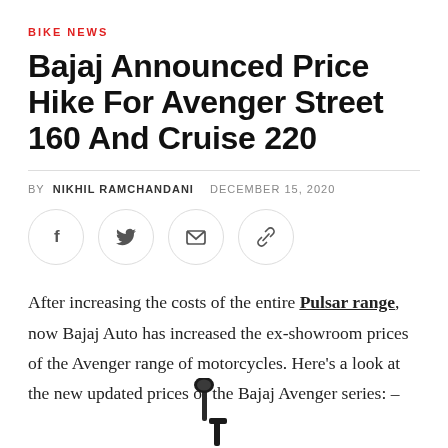BIKE NEWS
Bajaj Announced Price Hike For Avenger Street 160 And Cruise 220
BY NIKHIL RAMCHANDANI   DECEMBER 15, 2020
[Figure (infographic): Four social sharing icon buttons in circles: Facebook (f), Twitter (bird), Email (envelope), Link (chain link)]
After increasing the costs of the entire Pulsar range, now Bajaj Auto has increased the ex-showroom prices of the Avenger range of motorcycles. Here's a look at the new updated prices of the Bajaj Avenger series: –
[Figure (photo): Partial image of a Bajaj Avenger motorcycle, showing the mirror and handlebar area at the bottom of the page]